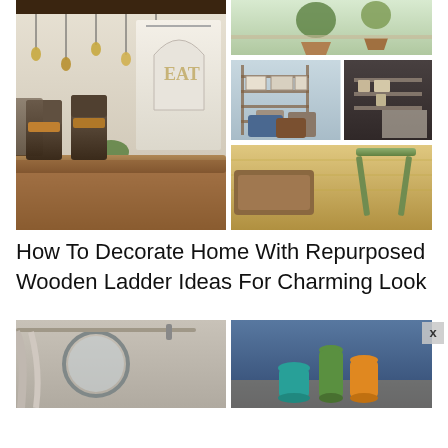[Figure (photo): Collage of farmhouse/rustic home interior images: left side shows a dining room with industrial metal chairs, wooden farm table, pendant lights on a wooden beam overhead, and a white cabinet with arched detail; right side shows a grid of four smaller images including potted plants on a shelf, a ladder used as a photo display on a blue wall, a corner shelf with vintage items, and a green stool/side table on wood floors with a tray.]
How To Decorate Home With Repurposed Wooden Ladder Ideas For Charming Look
[Figure (photo): Two more home decor images partially visible at the bottom: left shows a bathroom or bedroom with a round mirror; right shows colorful vases (teal, green, orange) against a blue-gray wall.]